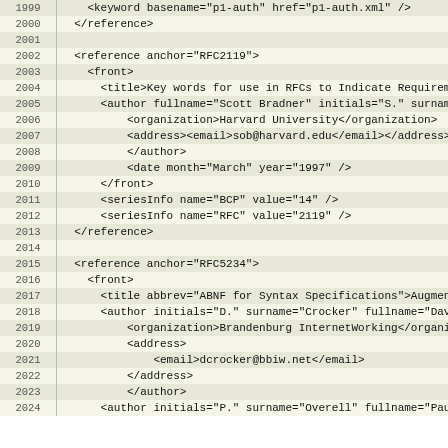| Line | Code |
| --- | --- |
| 1999 |     <keyword basename='p1-auth' href='p1-auth.xml' /> |
| 2000 |   </reference> |
| 2001 |  |
| 2002 |   <reference anchor="RFC2119"> |
| 2003 |     <front> |
| 2004 |       <title>Key words for use in RFCs to Indicate Requirement Levels</title> |
| 2005 |       <author fullname="Scott Bradner" initials="S." surname="Bradner"> |
| 2006 |           <organization>Harvard University</organization> |
| 2007 |           <address><email>sob@harvard.edu</email></address> |
| 2008 |           </author> |
| 2009 |           <date month="March" year="1997" /> |
| 2010 |       </front> |
| 2011 |       <seriesInfo name="BCP" value="14" /> |
| 2012 |       <seriesInfo name="RFC" value="2119" /> |
| 2013 |   </reference> |
| 2014 |  |
| 2015 |   <reference anchor="RFC5234"> |
| 2016 |     <front> |
| 2017 |       <title abbrev="ABNF for Syntax Specifications">Augmented BNF for Syntax Specifications: ABNF</title> |
| 2018 |       <author initials="D." surname="Crocker" fullname="Dave Crocker" role="editor"> |
| 2019 |           <organization>Brandenburg InternetWorking</organization> |
| 2020 |           <address> |
| 2021 |               <email>dcrocker@bbiw.net</email> |
| 2022 |           </address> |
| 2023 |           </author> |
| 2024 |       <author initials="P." surname="Overell" fullname="Paul Overell"> |